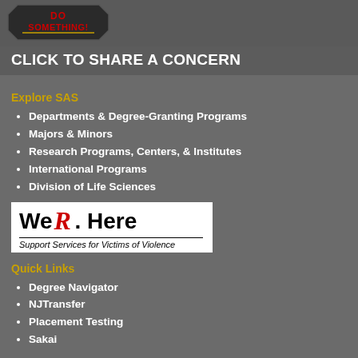[Figure (logo): Octagon shape with 'DO SOMETHING!' text in red and yellow on dark background]
CLICK TO SHARE A CONCERN
Explore SAS
Departments & Degree-Granting Programs
Majors & Minors
Research Programs, Centers, & Institutes
International Programs
Division of Life Sciences
[Figure (logo): We R Here logo - Support Services for Victims of Violence, Rutgers University]
Quick Links
Degree Navigator
NJTransfer
Placement Testing
Sakai